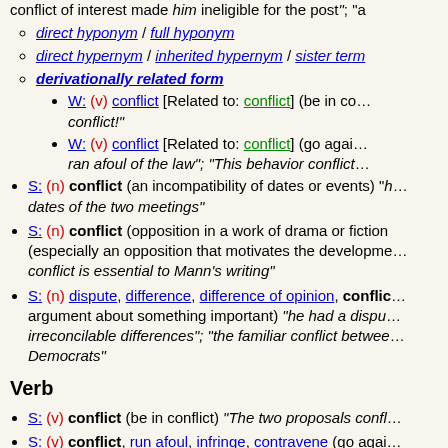conflict of interest made him ineligible for the post"; "a
direct hyponym / full hyponym
direct hypernym / inherited hypernym / sister term
derivationally related form
W: (v) conflict [Related to: conflict] (be in co... conflict!")
W: (v) conflict [Related to: conflict] (go again... ran afoul of the law"; "This behavior conflict...
S: (n) conflict (an incompatibility of dates or events) "h... dates of the two meetings"
S: (n) conflict (opposition in a work of drama or fiction (especially an opposition that motivates the developme... conflict is essential to Mann's writing"
S: (n) dispute, difference, difference of opinion, conflic... argument about something important) "he had a dispu... irreconcilable differences"; "the familiar conflict betwee... Democrats"
Verb
S: (v) conflict (be in conflict) "The two proposals confl...
S: (v) conflict, run afoul, infringe, contravene (go agai... ran afoul of the law"; "This behavior conflicts with our n...